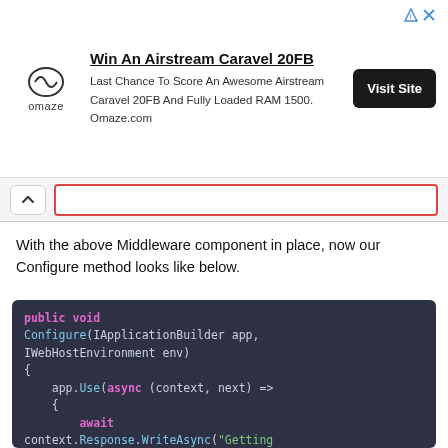[Figure (screenshot): Omaze advertisement banner: Win An Airstream Caravel 20FB. Last Chance To Score An Awesome Airstream Caravel 20FB And Fully Loaded RAM 1500. Omaze.com. Visit Site button.]
[Figure (screenshot): Browser search/navigation bar with chevron up button and red-bordered search input field.]
With the above Middleware component in place, now our Configure method looks like below.
[Figure (screenshot): Code block on dark background showing: public void Configure(IApplicationBuilder app, IWebHostEnvironment env) { app.Use(async (context, next) => { await context.Response.WriteAsync("Getting Response from 1st Middleware \n"); }); app.Run(async context => {]